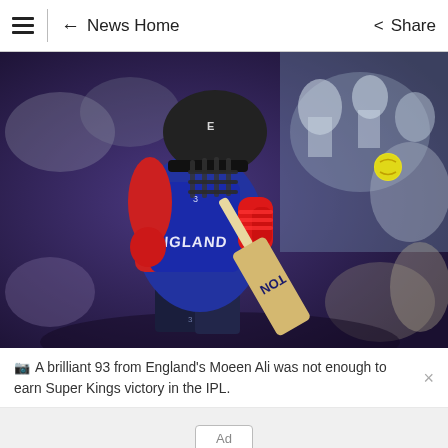News Home  Share
[Figure (photo): England cricket player (Moeen Ali) in blue and red England kit, wearing a black helmet, hitting with a TON bat during a match. A yellow cricket ball is visible in the air to the right. The background shows a blurred stadium crowd.]
A brilliant 93 from England's Moeen Ali was not enough to earn Super Kings victory in the IPL.
Ad